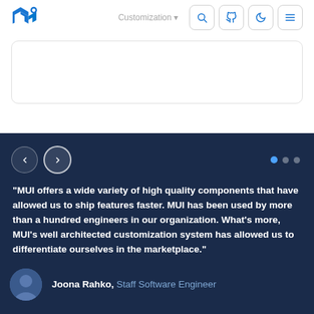MUI logo navigation bar with search, GitHub, dark mode, and menu icons
[Figure (screenshot): White card area with rounded border in the top section]
"MUI offers a wide variety of high quality components that have allowed us to ship features faster. MUI has been used by more than a hundred engineers in our organization. What's more, MUI's well architected customization system has allowed us to differentiate ourselves in the marketplace."
Joona Rahko, Staff Software Engineer